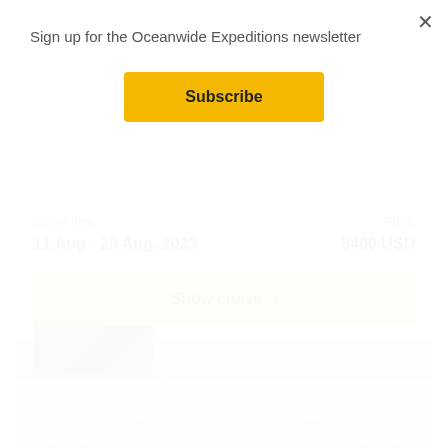Sign up for the Oceanwide Expeditions newsletter
×
Subscribe
Cruise date:
11 Aug - 20 Aug, 2023
Price:
5400 USD
Show cruise  >
[Figure (photo): Sky photo with clouds, sunset/overcast light, grey and warm tones]